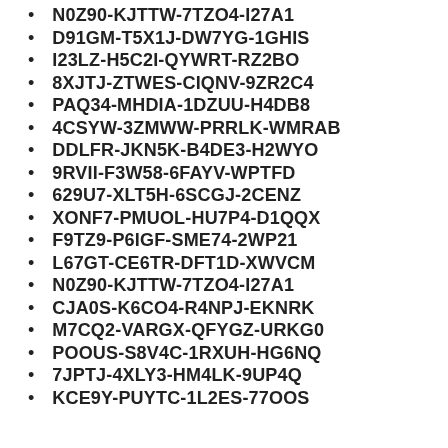N0Z90-KJTTW-7TZO4-I27A1
D91GM-T5X1J-DW7YG-1GHIS
I23LZ-H5C2I-QYWRT-RZ2BO
8XJTJ-ZTWES-CIQNV-9ZR2C4
PAQ34-MHDIA-1DZUU-H4DB8
4CSYW-3ZMWW-PRRLK-WMRAB
DDLFR-JKN5K-B4DE3-H2WYO
9RVII-F3W58-6FAYV-WPTFD
629U7-XLT5H-6SCGJ-2CENZ
XONF7-PMUOL-HU7P4-D1QQX
F9TZ9-P6IGF-SME74-2WP21
L67GT-CE6TR-DFT1D-XWVCM
N0Z90-KJTTW-7TZO4-I27A1
CJA0S-K6CO4-R4NPJ-EKNRK
M7CQ2-VARGX-QFYGZ-URKG0
POOUS-S8V4C-1RXUH-HG6NQ
7JPTJ-4XLY3-HM4LK-9UP4Q
KCE9Y-PUYTC-1L2ES-77OOS